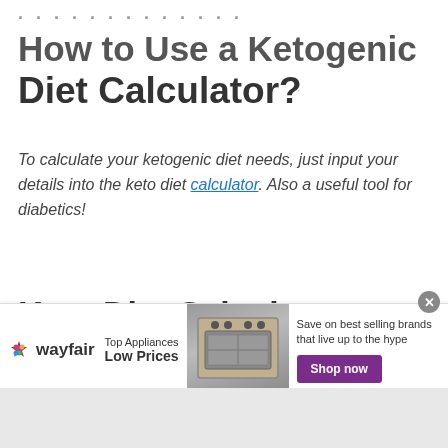How to Use a Ketogenic Diet Calculator?
To calculate your ketogenic diet needs, just input your details into the keto diet calculator. Also a useful tool for diabetics!
Keto Diet Calculator
Units   Metric
Gender   Female
[Figure (screenshot): Wayfair advertisement banner: Top Appliances Low Prices, Save on best selling brands that live up to the hype, Shop now button, with image of a stove/range appliance]